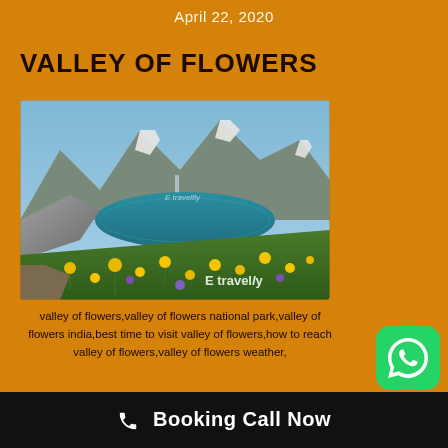April 22, 2020
VALLEY OF FLOWERS
[Figure (photo): Scenic mountain valley with a turquoise alpine lake surrounded by rocky peaks, with yellow and purple wildflowers in the foreground and an E travelfly watermark]
valley of flowers,valley of flowers national park,valley of flowers india,best time to visit valley of flowers,how to reach valley of flowers,valley of flowers weather,
Booking Call Now